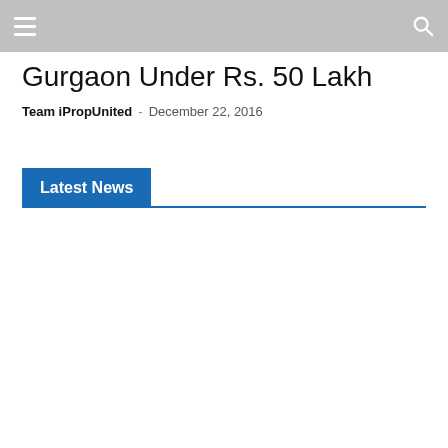Gurgaon Under Rs. 50 Lakh
Team iPropUnited - December 22, 2016
Latest News